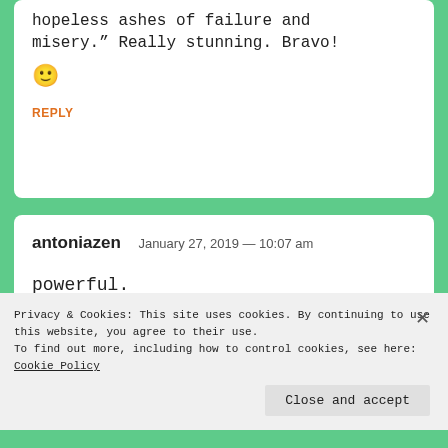hopeless ashes of failure and misery.” Really stunning. Bravo! 🙂
REPLY
antoniazen January 27, 2019 — 10:07 am
powerful.
Privacy & Cookies: This site uses cookies. By continuing to use this website, you agree to their use.
To find out more, including how to control cookies, see here:
Cookie Policy
Close and accept